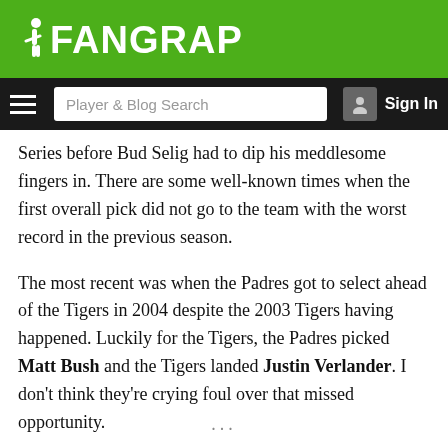FanGraphs
Series before Bud Selig had to dip his meddlesome fingers in. There are some well-known times when the first overall pick did not go to the team with the worst record in the previous season.
The most recent was when the Padres got to select ahead of the Tigers in 2004 despite the 2003 Tigers having happened. Luckily for the Tigers, the Padres picked Matt Bush and the Tigers landed Justin Verlander. I don’t think they’re crying foul over that missed opportunity.
Read the rest of this entry »